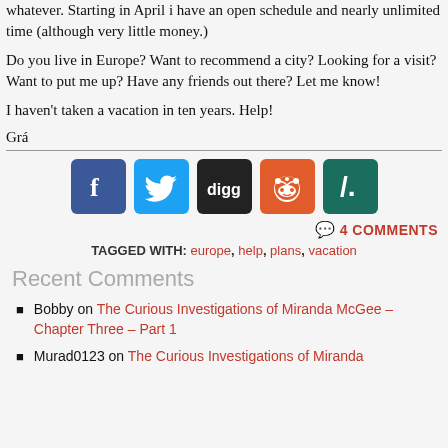whatever. Starting in April i have an open schedule and nearly unlimited time (although very little money.)
Do you live in Europe? Want to recommend a city? Looking for a visit? Want to put me up? Have any friends out there? Let me know!
I haven't taken a vacation in ten years. Help!
Grá
[Figure (infographic): Row of five social media sharing icons: Facebook (blue), Twitter (blue), Digg (black), Reddit (orange), Slashdot (teal)]
4 COMMENTS
TAGGED WITH: europe, help, plans, vacation
Recent Comments
Bobby on The Curious Investigations of Miranda McGee – Chapter Three – Part 1
Murad0123 on The Curious Investigations of Miranda